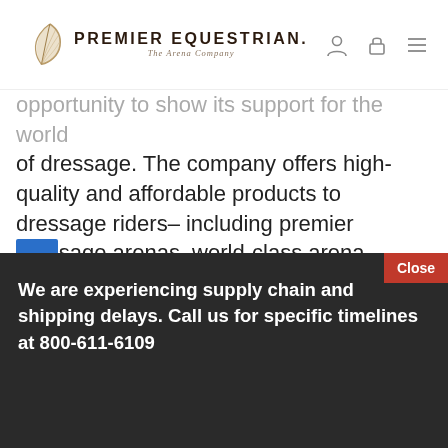PREMIER EQUESTRIAN. The Arena Company
opportunity to show its support for the world of dressage. The company offers high-quality and affordable products to dressage riders– including premier dressage arenas, world-class arena footing, revolutionized horse jumps, and accessories. For more information about the presenter of the Premier Equestrian Award, visit www.PremierEquestrian.com or call 800-611-61
We are experiencing supply chain and shipping delays. Call us for specific timelines at 800-611-6109